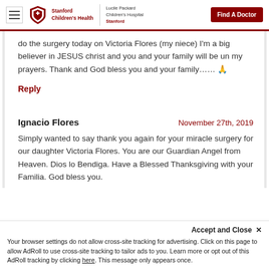Stanford Children's Health | Lucile Packard Children's Hospital Stanford | Find A Doctor
do the surgery today on Victoria Flores (my niece) I'm a big believer in JESUS christ and you and your family will be un my prayers. Thank and God bless you and your family…… 🙏
Reply
Ignacio Flores   November 27th, 2019
Simply wanted to say thank you again for your miracle surgery for our daughter Victoria Flores. You are our Guardian Angel from Heaven. Dios lo Bendiga. Have a Blessed Thanksgiving with your Familia. God bless you.
Accept and Close ✕
Your browser settings do not allow cross-site tracking for advertising. Click on this page to allow AdRoll to use cross-site tracking to tailor ads to you. Learn more or opt out of this AdRoll tracking by clicking here. This message only appears once.